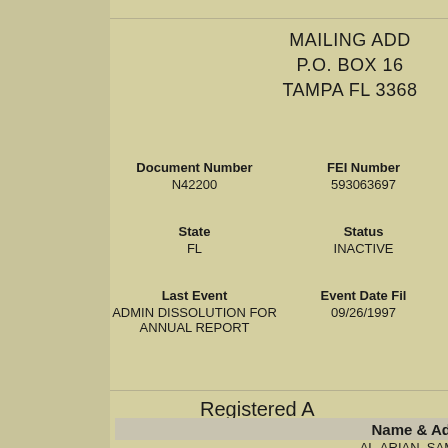MAILING ADD
P.O. BOX 16
TAMPA FL 3368
Document Number
N42200
FEI Number
593063697
State
FL
Status
INACTIVE
Last Event
ADMIN DISSOLUTION FOR
ANNUAL REPORT
Event Date Fil
09/26/1997
Registered A
| Name & Ad |
| --- |
| AL-ARIAN, SAM |